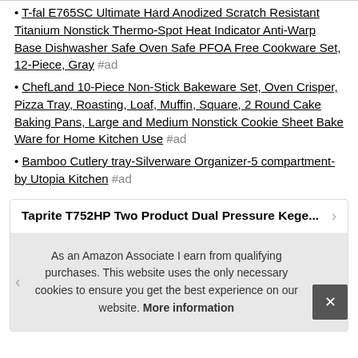T-fal E765SC Ultimate Hard Anodized Scratch Resistant Titanium Nonstick Thermo-Spot Heat Indicator Anti-Warp Base Dishwasher Safe Oven Safe PFOA Free Cookware Set, 12-Piece, Gray #ad
ChefLand 10-Piece Non-Stick Bakeware Set, Oven Crisper, Pizza Tray, Roasting, Loaf, Muffin, Square, 2 Round Cake Baking Pans, Large and Medium Nonstick Cookie Sheet Bake Ware for Home Kitchen Use #ad
Bamboo Cutlery tray-Silverware Organizer-5 compartment-by Utopia Kitchen #ad
Taprite T752HP Two Product Dual Pressure Kege...
As an Amazon Associate I earn from qualifying purchases. This website uses the only necessary cookies to ensure you get the best experience on our website. More information